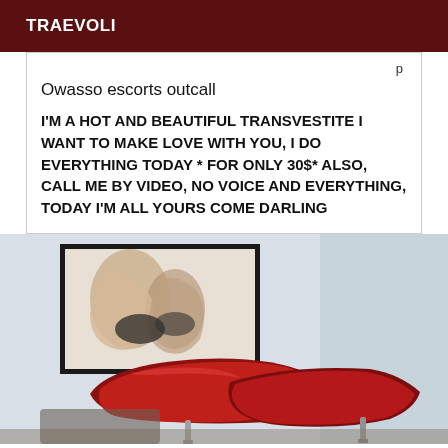TRAEVOLI
Owasso escorts outcall
I'M A HOT AND BEAUTIFUL TRANSVESTITE I WANT TO MAKE LOVE WITH YOU, I DO EVERYTHING TODAY * FOR ONLY 30$* ALSO, CALL ME BY VIDEO, NO VOICE AND EVERYTHING, TODAY I'M ALL YOURS COME DARLING
[Figure (photo): Photo of red high-heel shoes with silver stiletto heels resting together, with a framed artwork visible in the background showing hands and stockings. Light/neutral background.]